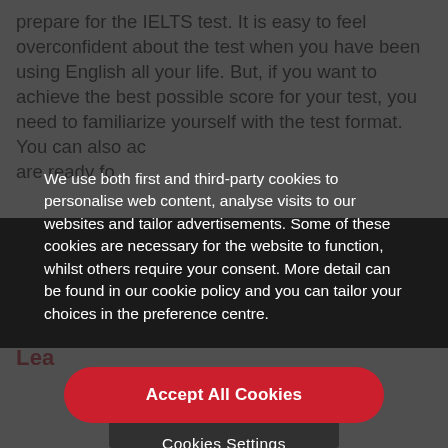prepare for the IELTS test. It is easy to feel overconfident about the test when you have been using English all your life. But, if you want to achieve the best possible score for your test, you need to familiarize yourself with the test format. You can also ac... are ready fo...
We use both first and third-party cookies to personalise web content, analyse visits to our websites and tailor advertisements. Some of these cookies are necessary for the website to function, whilst others require your consent. More detail can be found in our cookie policy and you can tailor your choices in the preference centre.
Accept All Cookies
Cookies Settings
Lea